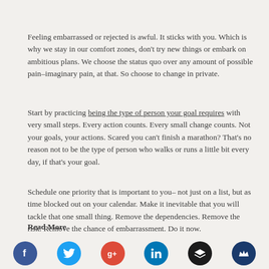Feeling embarrassed or rejected is awful. It sticks with you. Which is why we stay in our comfort zones, don’t try new things or embark on ambitious plans. We choose the status quo over any amount of possible pain–imaginary pain, at that. So choose to change in private.
Start by practicing being the type of person your goal requires with very small steps. Every action counts. Every small change counts. Not your goals, your actions. Scared you can’t finish a marathon? That’s no reason not to be the type of person who walks or runs a little bit every day, if that’s your goal.
Schedule one priority that is important to you– not just on a list, but as time blocked out on your calendar. Make it inevitable that you will tackle that one small thing. Remove the dependencies. Remove the risk. Remove the chance of embarrassment. Do it now.
Read More
[Figure (infographic): Social media sharing icons: Facebook (blue), Twitter (light blue), Google+ (red), LinkedIn (blue), Layers/Buffer (dark/black), Crown (dark blue)]